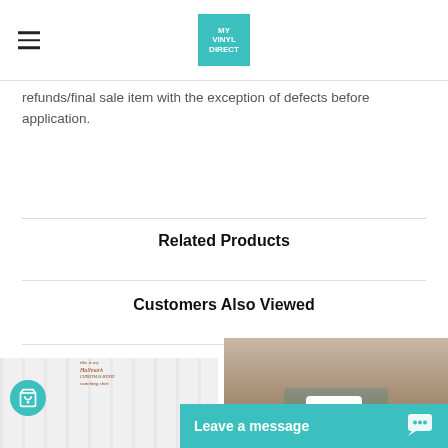MY VINYL DIRECT
refunds/final sale item with the exception of defects before application.
Related Products
Customers Also Viewed
[Figure (photo): Christmas holiday t-shirt product photo with red truck and Christmas tree design, with a teal cart button overlay]
[Figure (photo): Woman holding a white coffee mug with a holiday red truck design]